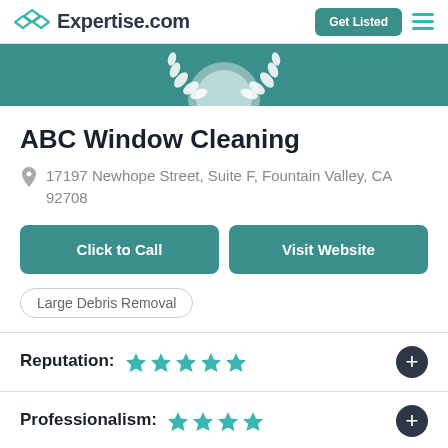Expertise.com | Get Listed
[Figure (logo): Expertise.com logo with teal diamond/knot icon and site name]
[Figure (illustration): Teal banner with white laurel wreath decoration at top of business listing card]
ABC Window Cleaning
17197 Newhope Street, Suite F, Fountain Valley, CA 92708
Click to Call
Visit Website
Large Debris Removal
Reputation: ★★★★★
Professionalism: ★★★★★